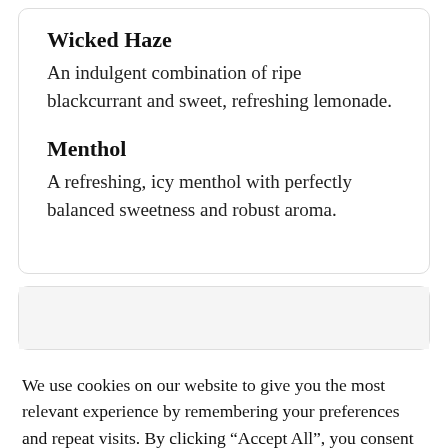Wicked Haze
An indulgent combination of ripe blackcurrant and sweet, refreshing lemonade.
Menthol
A refreshing, icy menthol with perfectly balanced sweetness and robust aroma.
We use cookies on our website to give you the most relevant experience by remembering your preferences and repeat visits. By clicking “Accept All”, you consent to the use of ALL the cookies. However, you may visit "Cookie Settings" to provide a controlled consent.
Cookie Settings | Accept All